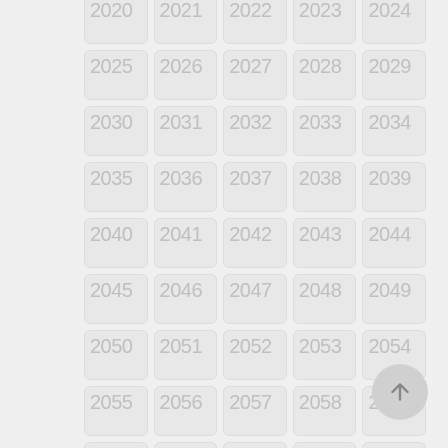[Figure (other): A grid of year number cells from 2020 to 2074 arranged in 5 columns and 11 rows, each cell styled as a rounded rectangle with light gray background and light gray numbers. A scroll-to-top circular button appears in the bottom right corner.]